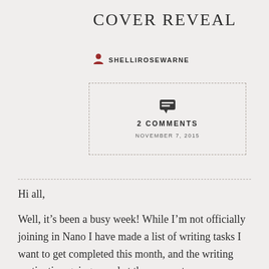Cover Reveal
SHELLIROSEWARNE
[Figure (other): Dashed-border box containing a speech bubble icon, '2 COMMENTS' label, and date 'NOVEMBER 7, 2015']
Hi all,
Well, it’s been a busy week! While I’m not officially joining in Nano I have made a list of writing tasks I want to get completed this month, and the writing motivation going round at the moment